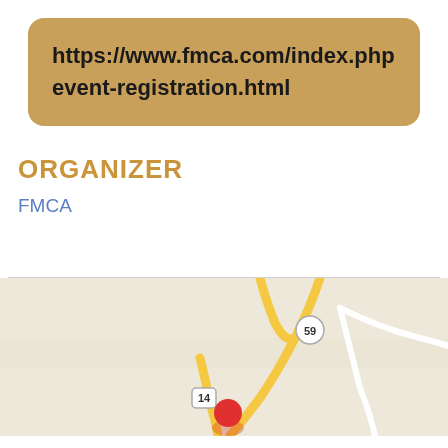https://www.fmca.com/index.php event-registration.html
ORGANIZER
FMCA
[Figure (map): Road map showing highway 59 and highway 14 intersection with a red location marker pin at the bottom center of the map.]